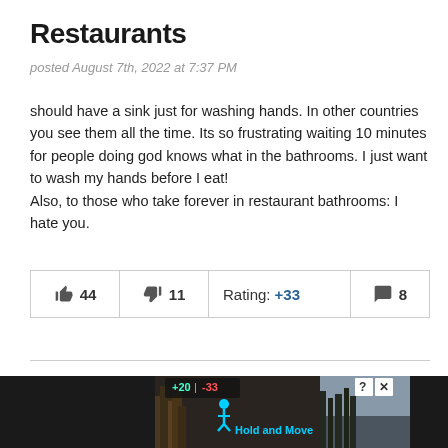Restaurants
posted August 7th, 2022 at 7:37 PM
should have a sink just for washing hands. In other countries you see them all the time. Its so frustrating waiting 10 minutes for people doing god knows what in the bathrooms. I just want to wash my hands before I eat!
Also, to those who take forever in restaurant bathrooms: I hate you.
| 👍 44 | 👎 11 | Rating: +33 | 💬 8 |
Old Timey Photo
posted August 7th, 2022 at 2:38 PM
Is it wrong that the first thing that popped into my mind looking at
[Figure (photo): Advertisement overlay at bottom of page showing a dark background with trees image, blue 'Hold and Move' text with icon, rating score overlay (+20, -33), help button and close button]